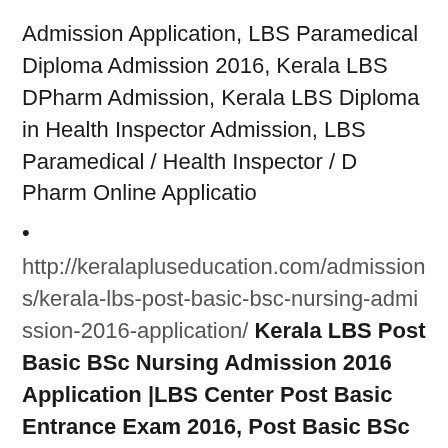Admission Application, LBS Paramedical Diploma Admission 2016, Kerala LBS DPharm Admission, Kerala LBS Diploma in Health Inspector Admission, LBS Paramedical / Health Inspector / D Pharm Online Applicatio
http://keralapluseducation.com/admissions/kerala-lbs-post-basic-bsc-nursing-admission-2016-application/ Kerala LBS Post Basic BSc Nursing Admission 2016 Application |LBS Center Post Basic Entrance Exam 2016, Post Basic BSc Nursing Admission 2016 Online Registration, LBS BSc Nursing Allotment 2016 | Kerala Education - Kerala LBS Post Basic BSc Nursing Admission 2016-17